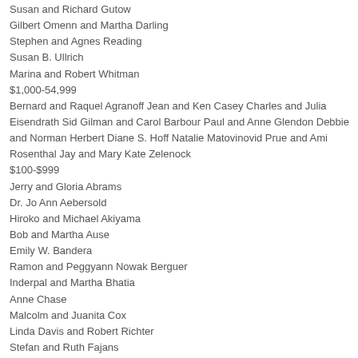Susan and Richard Gutow
Gilbert Omenn and Martha Darling
Stephen and Agnes Reading
Susan B. Ullrich
Marina and Robert Whitman
$1,000-54,999
Bernard and Raquel Agranoff Jean and Ken Casey Charles and Julia Eisendrath Sid Gilman and Carol Barbour Paul and Anne Glendon Debbie and Norman Herbert Diane S. Hoff Natalie Matovinovid Prue and Ami Rosenthal Jay and Mary Kate Zelenock
$100-$999
Jerry and Gloria Abrams
Dr. Jo Ann Aebersold
Hiroko and Michael Akiyama
Bob and Martha Ause
Emily W. Bandera
Ramon and Peggyann Nowak Berguer
Inderpal and Martha Bhatia
Anne Chase
Malcolm and Juanita Cox
Linda Davis and Robert Richter
Stefan and Ruth Fajans
David Fink and Marina Mata